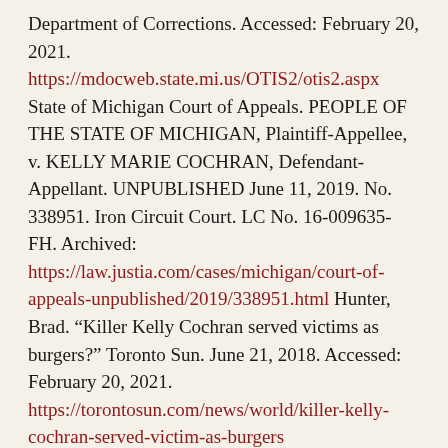Department of Corrections. Accessed: February 20, 2021. https://mdocweb.state.mi.us/OTIS2/otis2.aspx State of Michigan Court of Appeals. PEOPLE OF THE STATE OF MICHIGAN, Plaintiff-Appellee, v. KELLY MARIE COCHRAN, Defendant-Appellant. UNPUBLISHED June 11, 2019. No. 338951. Iron Circuit Court. LC No. 16-009635-FH. Archived: https://law.justia.com/cases/michigan/court-of-appeals-unpublished/2019/338951.html Hunter, Brad. “Killer Kelly Cochran served victims as burgers?” Toronto Sun. June 21, 2018. Accessed: February 20, 2021. https://torontosun.com/news/world/killer-kelly-cochran-served-victim-as-burgers